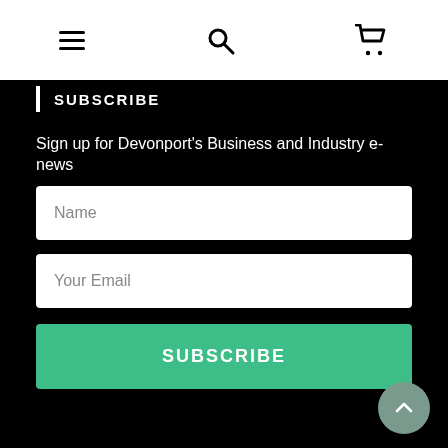Navigation bar with hamburger menu, search, and cart icons
SUBSCRIBE
Sign up for Devonport's Business and Industry e-news
Name
Your Email
SUBSCRIBE